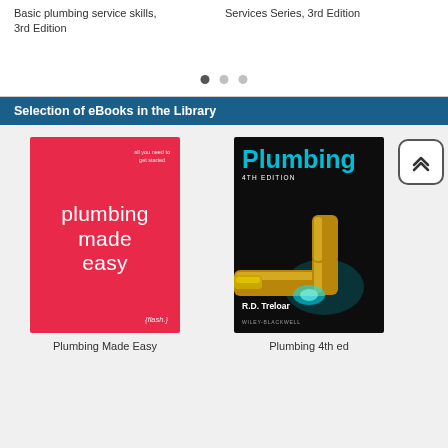Basic plumbing service skills, 3rd Edition
Services Series, 3rd Edition
Selection of eBooks in the Library
[Figure (photo): Book cover: Plumbing Made Easy (red cover with flash branding)]
[Figure (photo): Book cover: Plumbing 4th Edition by R.D. Treloar (dark cover with copper pipe and torch, Wiley-Blackwell publisher)]
Plumbing Made Easy
Plumbing 4th ed